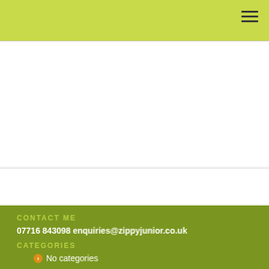CONTACT ME
07716 843098 enquiries@zippyjunior.co.uk
CATEGORIES
No categories
FOLLOW ME